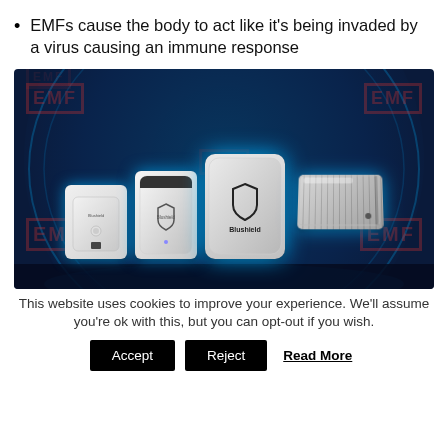EMFs cause the body to act like it's being invaded by a virus causing an immune response
[Figure (photo): Product photo showing four Blushield EMF protection devices arranged against a dark blue glowing background with 'EMF' watermarks. Devices include a wall plug unit, a tall white unit, a card-sized device with Blushield logo, and a silver vented box.]
This website uses cookies to improve your experience. We'll assume you're ok with this, but you can opt-out if you wish.